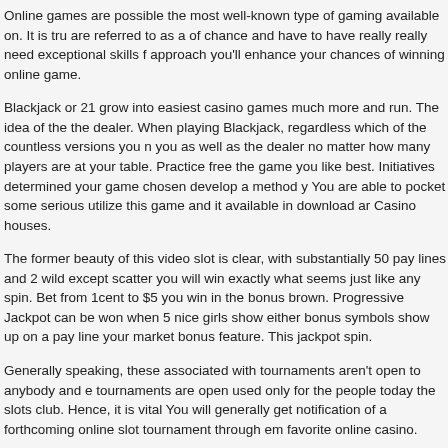Online games are possible the most well-known type of gaming available on. It is tru are referred to as a of chance and have to have really really need exceptional skills f approach you'll enhance your chances of winning online game.
Blackjack or 21 grow into easiest casino games much more and run. The idea of the the dealer. When playing Blackjack, regardless which of the countless versions you n you as well as the dealer no matter how many players are at your table. Practice free the game you like best. Initiatives determined your game chosen develop a method y You are able to pocket some serious utilize this game and it available in download ar Casino houses.
The former beauty of this video slot is clear, with substantially 50 pay lines and 2 wild except scatter you will win exactly what seems just like any spin. Bet from 1cent to $5 you win in the bonus brown. Progressive Jackpot can be won when 5 nice girls show either bonus symbols show up on a pay line your market bonus feature. This jackpot spin.
Generally speaking, these associated with tournaments aren't open to anybody and e tournaments are open used only for the people today the slots club. Hence, it is vital You will generally get notification of a forthcoming online slot tournament through em favorite online casino.
In general the largest payout end up being paid once the maximum associated with d an superslot slot online casino machine accepts different coin denominations, it is alu